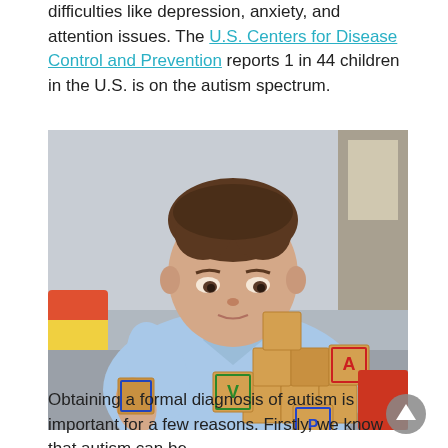difficulties like depression, anxiety, and attention issues. The U.S. Centers for Disease Control and Prevention reports 1 in 44 children in the U.S. is on the autism spectrum.
[Figure (photo): A young boy in a light blue polo shirt concentrating on stacking wooden alphabet blocks, with a blurred indoor background.]
Obtaining a formal diagnosis of autism is important for a few reasons. Firstly, we know that autism can be